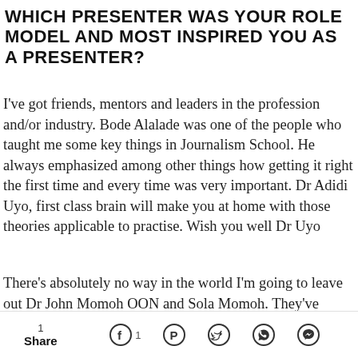WHICH PRESENTER WAS YOUR ROLE MODEL AND MOST INSPIRED YOU AS A PRESENTER?
I've got friends, mentors and leaders in the profession and/or industry. Bode Alalade was one of the people who taught me some key things in Journalism School. He always emphasized among other things how getting it right the first time and every time was very important. Dr Adidi Uyo, first class brain will make you at home with those theories applicable to practise. Wish you well Dr Uyo
There's absolutely no way in the world I'm going to leave out Dr John Momoh OON and Sola Momoh. They've
1 Share  [Facebook 1] [Pinterest] [Twitter] [WhatsApp] [Messenger]